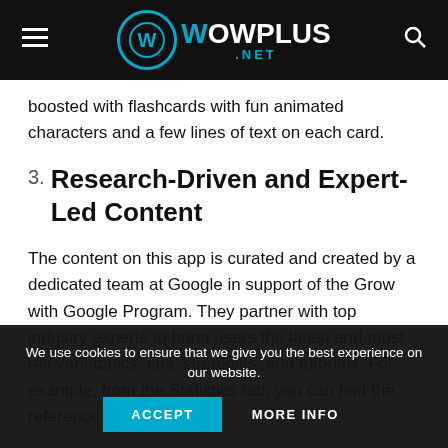WowPlus.net — navigation header with hamburger menu and search icon
boosted with flashcards with fun animated characters and a few lines of text on each card.
3. Research-Driven and Expert-Led Content
The content on this app is curated and created by a dedicated team at Google in support of the Grow with Google Program. They partner with top industry experts to bring users the latest and most relevant topics, tips, strategies, and tutorials. For example, from the Statistics tab, you can find the reference to
We use cookies to ensure that we give you the best experience on our website.